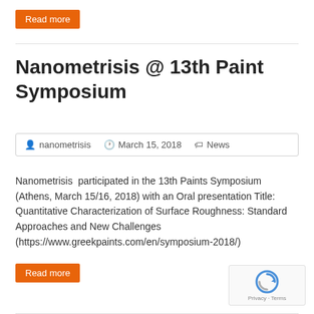Read more
Nanometrisis @ 13th Paint Symposium
nanometrisis   March 15, 2018   News
Nanometrisis  participated in the 13th Paints Symposium (Athens, March 15/16, 2018) with an Oral presentation Title: Quantitative Characterization of Surface Roughness: Standard Approaches and New Challenges (https://www.greekpaints.com/en/symposium-2018/)
Read more